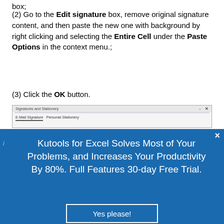box;
(2) Go to the Edit signature box, remove original signature content, and then paste the new one with background by right clicking and selecting the Entire Cell under the Paste Options in the context menu.;
(3) Click the OK button.
[Figure (screenshot): Partial screenshot of Signatures and Stationery dialog box showing E-mail Signature and Personal Stationery tabs]
Kutools for Excel Solves Most of Your Problems, and Increases Your Productivity By 80%. Full Features 30-day Free Trial.
[Figure (other): Yes please! button]